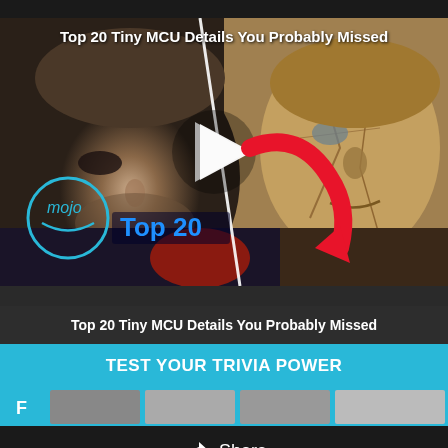[Figure (screenshot): Video thumbnail showing two side-by-side images: left is a live-action photo of an actor (bruised face, dark lighting), right is a stone/mosaic face carving. Overlaid with WatchMojo logo circle, 'Top 20' text in blue, a white play button triangle, and a red curved arrow. Title overlay at top reads 'Top 20 Tiny MCU Details You Probably Missed']
Top 20 Tiny MCU Details You Probably Missed
TEST YOUR TRIVIA POWER
Share